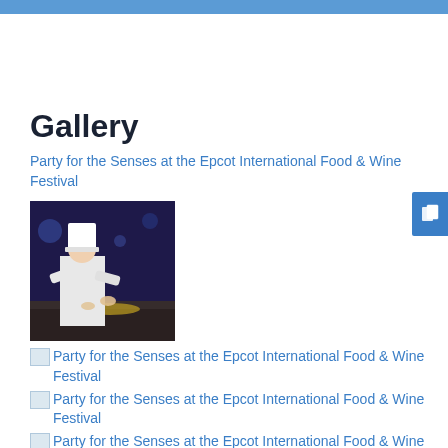Gallery
Party for the Senses at the Epcot International Food & Wine Festival
[Figure (photo): Chef in white uniform and hat preparing food at a dark-lit event table]
Party for the Senses at the Epcot International Food & Wine Festival
Party for the Senses at the Epcot International Food & Wine Festival
Party for the Senses at the Epcot International Food & Wine Festival
Party for the Senses at the Epcot International Food & Wine Festival